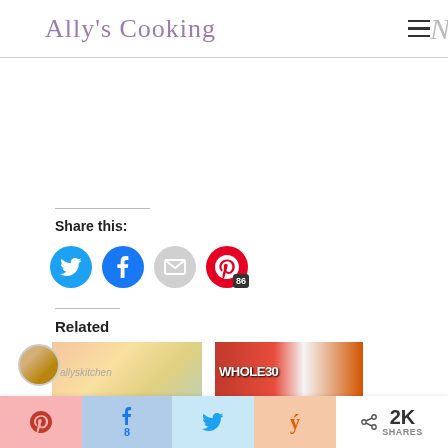Ally's Cooking
Share this:
[Figure (screenshot): Social share buttons: Twitter (blue bird), Facebook (blue f), Email (grey envelope), Pinterest (red P with 86 count)]
Related
[Figure (photo): Related post thumbnail 1 - food photo]
[Figure (photo): Related post thumbnail 2 - WHOLE30 text overlay]
[Figure (photo): Author avatar circle photo]
Pinterest | Facebook 8 | Twitter | Yummly | < 2K SHARES